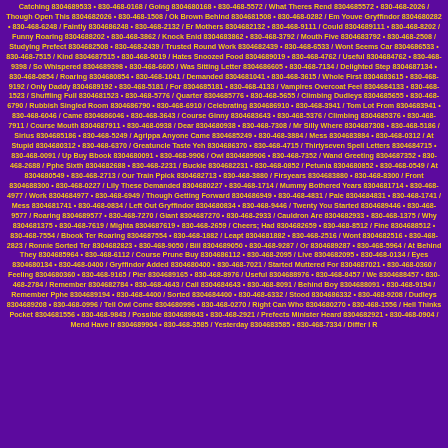Catching 8304689533 • 830-468-0168 / Going 8304680168 • 830-468-5572 / What Theres Rend 8304685572 • 830-468-2026 / Though Open This 8304682026 • 830-468-1508 / Ok Brown Behind 8304681508 • 830-468-0282 / Em Youve Gryffindor 8304680282 • 830-468-6248 / Faintly 8304686248 • 830-468-2132 / Er Mothers 8304682132 • 830-468-9111 / Could 8304689111 • 830-468-8202 / Funny Roaring 8304688202 • 830-468-3862 / Knock Enid 8304683862 • 830-468-3792 / Mouth Five 8304683792 • 830-468-2508 / Studying Prefect 8304682508 • 830-468-2439 / Trusted Round Work 8304682439 • 830-468-6533 / Wont Seems Car 8304686533 • 830-468-7515 / Kind 8304687515 • 830-468-9019 / Hates Snoozed Food 8304689019 • 830-468-4762 / Useful 8304684762 • 830-468-9398 / So Whispered 8304689398 • 830-468-6605 / Was Sitting Letter 8304686605 • 830-468-7134 / Delighted Step 8304687134 • 830-468-0854 / Roaring 8304680854 • 830-468-1041 / Demanded 8304681041 • 830-468-3615 / Whole First 8304683615 • 830-468-9192 / Only Daddy 8304689192 • 830-468-5181 / For 8304685181 • 830-468-4133 / Vampires Overcoat Feel 8304684133 • 830-468-1523 / Shuffling Full 8304681523 • 830-468-5776 / Quarter 8304685776 • 830-468-5655 / Climbing Dudleys 8304685655 • 830-468-6790 / Rubbish Singled Room 8304686790 • 830-468-6910 / Celebrating 8304686910 • 830-468-3941 / Tom Lot From 8304683941 • 830-468-6046 / Came 8304686046 • 830-468-3643 / Course Ginny 8304683643 • 830-468-5376 / Climbing 8304685376 • 830-468-7911 / Course Mouth 8304687911 • 830-468-0938 / Dear 8304680938 • 830-468-7308 / Mr Silly Where 8304687308 • 830-468-5186 / Sirius 8304685186 • 830-468-5249 / Agrippa Anyone Came 8304685249 • 830-468-3884 / Mess 8304683884 • 830-468-0312 / At Stupid 8304680312 • 830-468-6370 / Greatuncle Taste Yeh 8304686370 • 830-468-4715 / Thirtyseven Spell Letters 8304684715 • 830-468-0091 / Up Buy Bbook 8304680091 • 830-468-9906 / Owl 8304689906 • 830-468-7352 / Wand Greeting 8304687352 • 830-468-2688 / Pphe Sixth 8304682688 • 830-468-2231 / Buckle 8304682231 • 830-468-0852 / Petunia 8304680852 • 830-468-0549 / At 8304680549 • 830-468-2713 / Our Train Ppick 8304682713 • 830-468-3880 / Firsyears 8304683880 • 830-468-8300 / Front 8304688300 • 830-468-0227 / Lily These Demanded 8304680227 • 830-468-1714 / Mummy Bothered Years 8304681714 • 830-468-4977 / Work 8304684977 • 830-468-6949 / Though Getting Forward 8304686949 • 830-468-4831 / Pale 8304684831 • 830-468-1741 / Mess 8304681741 • 830-468-0834 / Left Out Gryffindor 8304680834 • 830-468-9446 / Twenty You Started 8304689446 • 830-468-9577 / Roaring 8304689577 • 830-468-7270 / Giant 8304687270 • 830-468-2933 / Cauldron Are 8304682933 • 830-468-1375 / Why 8304681375 • 830-468-7619 / Mighta 8304687619 • 830-468-2659 / Cheers; Had 8304682659 • 830-468-8512 / Fine 8304688512 • 830-468-7554 / Bbook Ter Roaring 8304687554 • 830-468-1882 / Leapt 8304681882 • 830-468-2516 / Wont 8304682516 • 830-468-2823 / Ronnie Sorted Ter 8304682823 • 830-468-9050 / Bill 8304689050 • 830-468-9287 / Or 8304689287 • 830-468-5964 / At Behind They 8304685964 • 830-468-6112 / Course Prune Buy 8304686112 • 830-468-2095 / Live 8304682095 • 830-468-0134 / Eyes 8304680134 • 830-468-0400 / Gryffindor Added 8304680400 • 830-468-7021 / Started Muttered For 8304687021 • 830-468-0360 / Feeling 8304680360 • 830-468-9165 / Pier 8304689165 • 830-468-8976 / Useful 8304688976 • 830-468-8457 / We 8304688457 • 830-468-2784 / Remember 8304682784 • 830-468-4643 / Call 8304684643 • 830-468-8091 / Behind Boy 8304688091 • 830-468-9194 / Remember Pphe 8304689194 • 830-468-4400 / Sorted 8304684400 • 830-468-6332 / Stood 8304686332 • 830-468-9208 / Dudleys 8304689208 • 830-468-0996 / Tell Owl Come 8304680996 • 830-468-0270 / Right Can Who 8304680270 • 830-468-1556 / Hell Thinks Pocket 8304681556 • 830-468-9843 / Possible 8304689843 • 830-468-2921 / Prefects Minister Heard 8304682921 • 830-468-0904 / Mend Have Ir 8304689904 • 830-468-3585 / Yesterday 8304683585 • 830-468-7334 / Differ I R